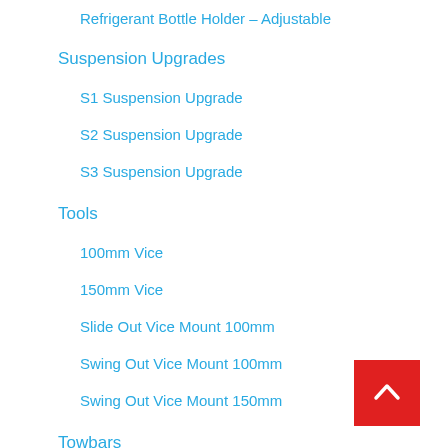Refrigerant Bottle Holder – Adjustable
Suspension Upgrades
S1 Suspension Upgrade
S2 Suspension Upgrade
S3 Suspension Upgrade
Tools
100mm Vice
150mm Vice
Slide Out Vice Mount 100mm
Swing Out Vice Mount 100mm
Swing Out Vice Mount 150mm
Towbars